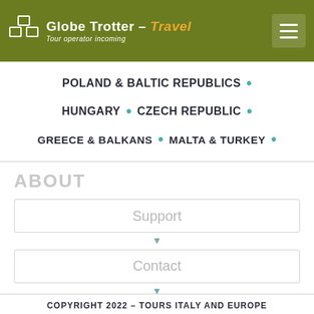Globe Trotter – Travel | Tour operator incoming
POLAND & BALTIC REPUBLICS •
HUNGARY • CZECH REPUBLIC •
GREECE & BALKANS • MALTA & TURKEY •
ABOUT
Support
Contact
COPYRIGHT 2022 – TOURS ITALY AND EUROPE